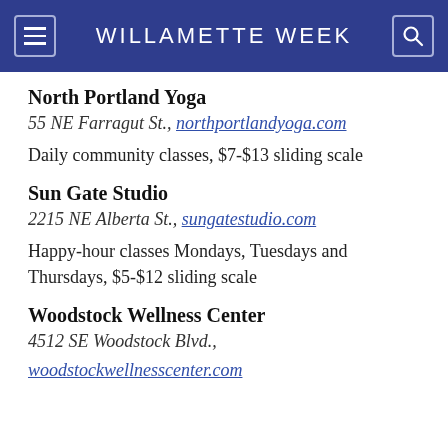WILLAMETTE WEEK
North Portland Yoga
55 NE Farragut St., northportlandyoga.com
Daily community classes, $7-$13 sliding scale
Sun Gate Studio
2215 NE Alberta St., sungatestudio.com
Happy-hour classes Mondays, Tuesdays and Thursdays, $5-$12 sliding scale
Woodstock Wellness Center
4512 SE Woodstock Blvd.,
woodstockwellnesscenter.com